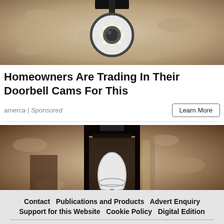[Figure (photo): Security camera with LED ring mounted on a bracket against a textured stone wall]
Homeowners Are Trading In Their Doorbell Cams For This
amerca | Sponsored
Learn More
[Figure (photo): Black lantern-style outdoor light fixture mounted on a stone wall, containing a white smart camera bulb]
Contact  Publications and Products  Advert Enquiry  Support for this Website  Cookie Policy  Digital Edition